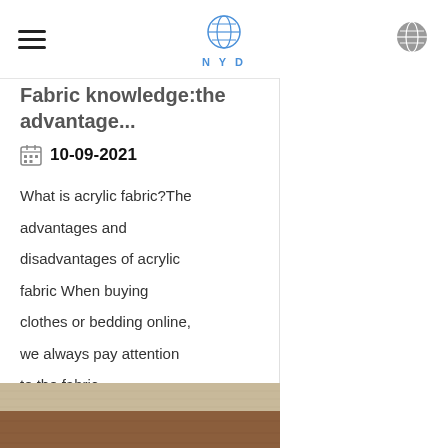NYD
Fabric knowledge:the advantage...
10-09-2021
What is acrylic fabric?The advantages and disadvantages of acrylic fabric When buying clothes or bedding online, we always pay attention to the fabric...
Read Artcle
[Figure (photo): Layered fabric swatches in beige and brown tones]